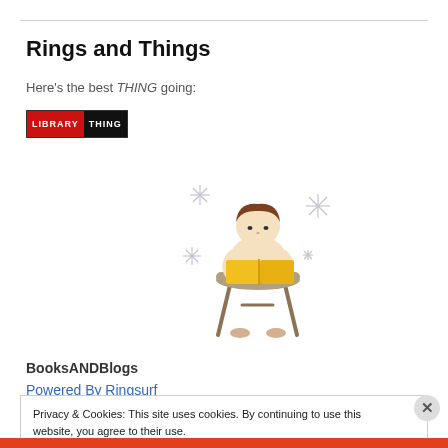Rings and Things
Here's the best THING going:
[Figure (logo): LibraryThing logo: red box with 'LIBRARY' in white text, black box with 'THING' in white text, bordered]
[Figure (illustration): Cartoon illustration of a child sitting on a stool reading a yellow book, with sparkle/star decorations around them]
BooksANDBlogs
Powered By Ringsurf
Privacy & Cookies: This site uses cookies. By continuing to use this website, you agree to their use. To find out more, including how to control cookies, see here: Cookie Policy
Close and accept